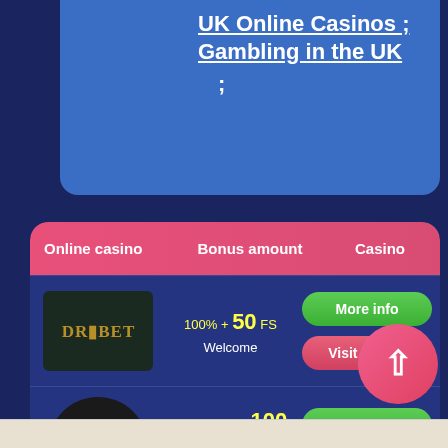UK Online Casinos ; Gambling in the UK ;
| Online casino | Bonus amount | Casino |
| --- | --- | --- |
| DrBet [logo] | 100% + 50 FS Welcome | More info | Visit casino |
| Genesis Casino [logo] | 100% up to £100 + 300 Free Spins on Starburst | More info | Visit casino |
[Figure (other): Scroll-to-top circular button with upward arrow, pink/red gradient]